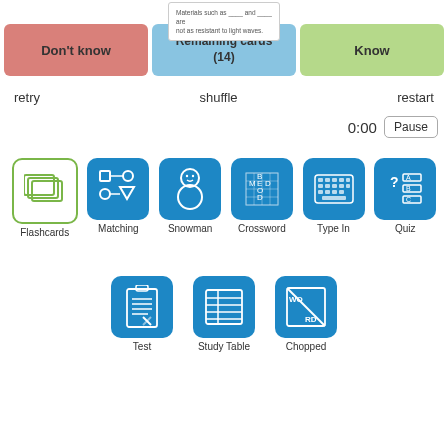[Figure (screenshot): Flashcard app interface showing Don't know / Remaining cards (14) / Know buttons, retry/shuffle/restart options, timer 0:00 with Pause button, and study mode icons: Flashcards, Matching, Snowman, Crossword, Type In, Quiz, Test, Study Table, Chopped]